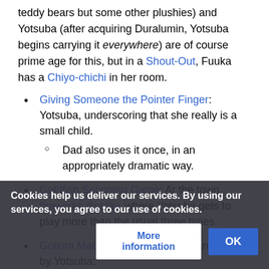teddy bears but some other plushies) and Yotsuba (after acquiring Duralumin, Yotsuba begins carrying it everywhere) are of course prime age for this, but in a Shout-Out, Fuuka has a Chiyo-chichi in her room.
Giving Someone the Pointer Finger: Yotsuba, underscoring that she really is a small child.
○ Dad also uses it once, in an appropriately dramatic way.
Goldfish Scooping Game: At the town fireworks display, where Yotsuba gets to play more than the usual three times.
Gollum Made Me Do It: Used as an excuse by Yotsuba:
[partially obscured text behind cookie banner]
Cookies help us deliver our services. By using our services, you agree to our use of cookies.